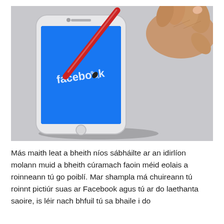[Figure (photo): A white smartphone displaying the Facebook login screen (blue background with 'facebook' logo in white) being touched by a red stylus pen held by a person's hand, on a light grey surface.]
Más maith leat a bheith níos sábháilte ar an idirlíon molann muid a bheith cúramach faoin méid eolais a roinneann tú go poiblí. Mar shampla má chuireann tú roinnt pictiúr suas ar Facebook agus tú ar do laethanta saoire, is léir nach bhfuil tú sa bhaile i do